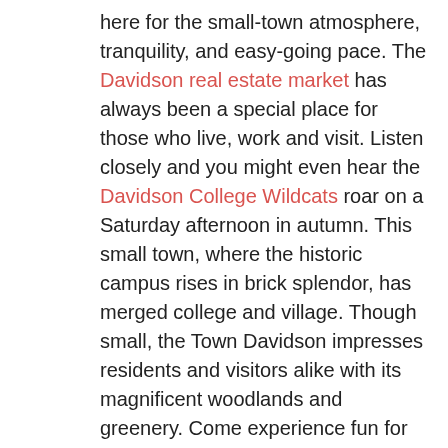here for the small-town atmosphere, tranquility, and easy-going pace. The Davidson real estate market has always been a special place for those who live, work and visit. Listen closely and you might even hear the Davidson College Wildcats roar on a Saturday afternoon in autumn. This small town, where the historic campus rises in brick splendor, has merged college and village. Though small, the Town Davidson impresses residents and visitors alike with its magnificent woodlands and greenery. Come experience fun for the entire family at the local Davidson YMCA on Lake Davidson.The Davidson College campus of 1700 students is one of the country's leading four-year liberal arts colleges and is the town's principal employer.